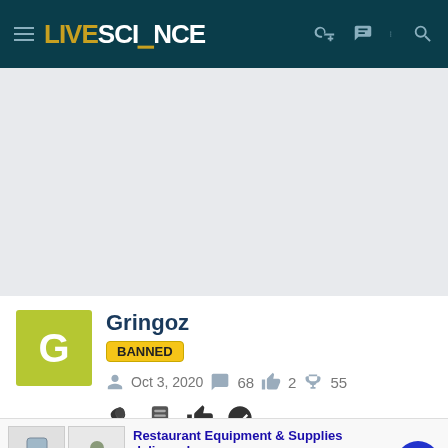LIVE SCIENCE
[Figure (other): Gray empty advertisement placeholder area]
[Figure (other): User avatar: green-yellow square with letter G]
Gringoz
BANNED
Oct 3, 2020   68   2   55
[Figure (other): User badge icons row]
[Figure (other): Advertisement: Restaurant Equipment & Supplies delivered. Shop over 360,000+ restaurant supplies & equipment produc... www.webstaurantstore.com]